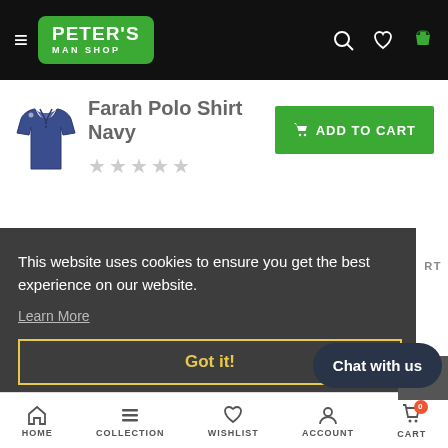Peter's Man Shop — navigation header with logo, hamburger menu, search, wishlist, and cart icons
Farah Polo Shirt Navy
[Figure (photo): Small product thumbnail of a navy polo shirt]
★★★★★ (empty stars rating)
SHIPPING & DELIVERY
This website uses cookies to ensure you get the best experience on our website.
Learn More
Got it!
Chat with us
HOME  COLLECTION  WISHLIST  ACCOUNT  CART